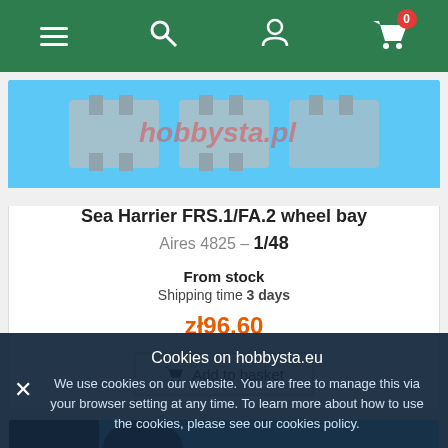Navigation bar with menu, search, user, and cart (0 items)
[Figure (photo): Product photo of Sea Harrier FRS.1/FA.2 wheel bay parts on blue background with hobbysta.pl watermark]
Sea Harrier FRS.1/FA.2 wheel bay
Aires 4825 – 1/48
From stock
Shipping time 3 days
zł96.60
Add to basket
[Figure (photo): Second product photo partially visible, dark image on blue background]
Cookies on hobbysta.eu
We use cookies on our website. You are free to manage this via your browser setting at any time. To learn more about how to use the cookies, please see our cookies policy.